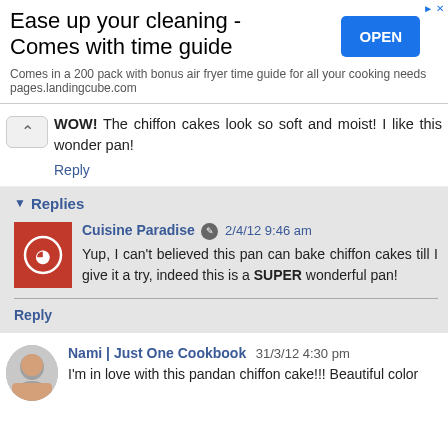[Figure (infographic): Advertisement banner: 'Ease up your cleaning - Comes with time guide'. Subtitle: 'Comes in a 200 pack with bonus air fryer time guide for all your cooking needs pages.landingcube.com'. Blue OPEN button on right.]
WOW! The chiffon cakes look so soft and moist! I like this wonder pan!
Reply
Replies
Cuisine Paradise 2/4/12 9:46 am
Yup, I can't believed this pan can bake chiffon cakes till I give it a try, indeed this is a SUPER wonderful pan!
Reply
Nami | Just One Cookbook 31/3/12 4:30 pm
I'm in love with this pandan chiffon cake!!! Beautiful color